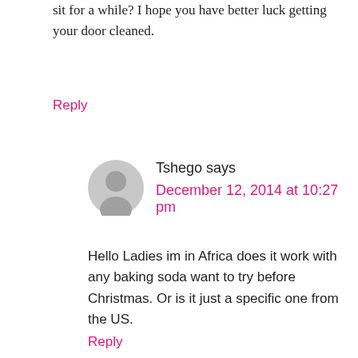sit for a while? I hope you have better luck getting your door cleaned.
Reply
Tshego says
December 12, 2014 at 10:27 pm
Hello Ladies im in Africa does it work with any baking soda want to try before Christmas. Or is it just a specific one from the US.
Reply